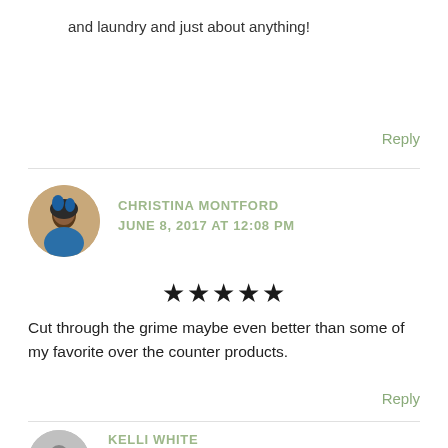and laundry and just about anything!
Reply
CHRISTINA MONTFORD
JUNE 8, 2017 AT 12:08 PM
★★★★★
Cut through the grime maybe even better than some of my favorite over the counter products.
Reply
KELLI WHITE
JUNE 2, 2017 AT 10:17 AM